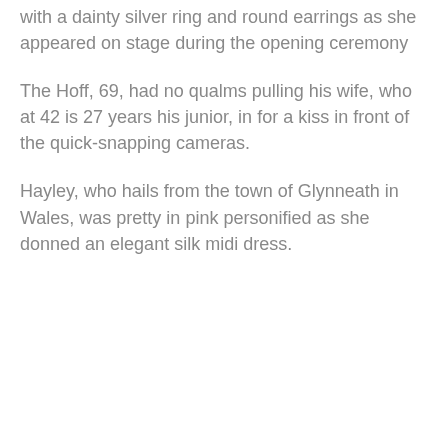with a dainty silver ring and round earrings as she appeared on stage during the opening ceremony
The Hoff, 69, had no qualms pulling his wife, who at 42 is 27 years his junior, in for a kiss in front of the quick-snapping cameras.
Hayley, who hails from the town of Glynneath in Wales, was pretty in pink personified as she donned an elegant silk midi dress.